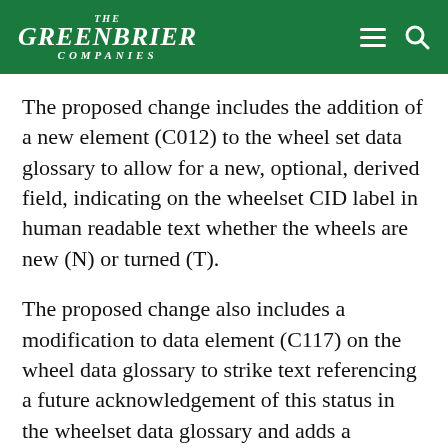THE GREENBRIER COMPANIES
The proposed change includes the addition of a new element (C012) to the wheel set data glossary to allow for a new, optional, derived field, indicating on the wheelset CID label in human readable text whether the wheels are new (N) or turned (T).
The proposed change also includes a modification to data element (C117) on the wheel data glossary to strike text referencing a future acknowledgement of this status in the wheelset data glossary and adds a statement that values for C012 and